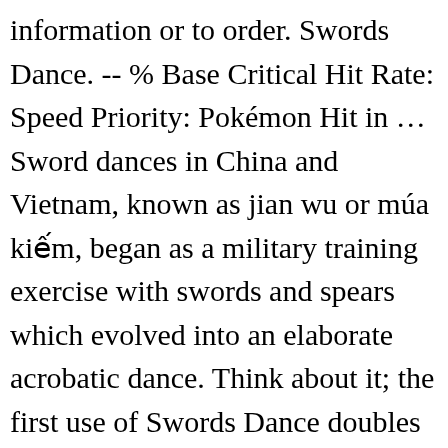information or to order. Swords Dance. -- % Base Critical Hit Rate: Speed Priority: Pokémon Hit in … Sword dances in China and Vietnam, known as jian wu or múa kiếm, began as a military training exercise with swords and spears which evolved into an elaborate acrobatic dance. Think about it; the first use of Swords Dance doubles your Attack. Swords Dance is great when paired with a Ninjask and Baton Pass ^^ Go with this with a Ninjask and you'll be pretty much on the winning streak (that is, if you have a physical sweeper team; it can